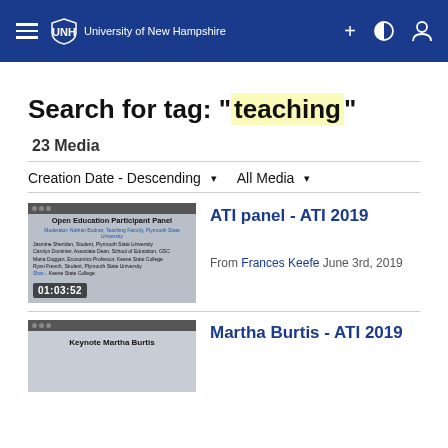University of New Hampshire
Search for tag: "teaching"
23 Media
Creation Date - Descending   All Media
[Figure (screenshot): Video thumbnail for ATI panel - ATI 2019 showing Open Education Participant Panel with duration 01:03:52]
ATI panel - ATI 2019
From Frances Keefe June 3rd, 2019
[Figure (screenshot): Video thumbnail for Martha Burtis - ATI 2019 showing Keynote Martha Burtis]
Martha Burtis - ATI 2019